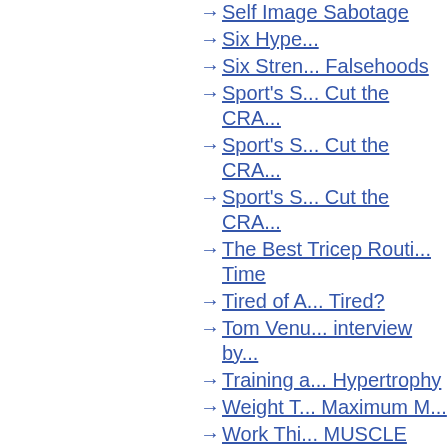→ Self Image Sabotage
→ Six Hype...
→ Six Stren... Falsehoods
→ Sport's S... Cut the CRA...
→ Sport's S... Cut the CRA...
→ Sport's S... Cut the CRA...
→ The Best Tricep Routi... Time
→ Tired of A... Tired?
→ Tom Venu... interview by...
→ Training a... Hypertrophy
→ Weight T... Maximum M...
→ Work Thi... MUSCLE An... Gains SKYF...
→ 10 Thing... Do to Gain M...
→ 16 Tips F... Feeling Gre...